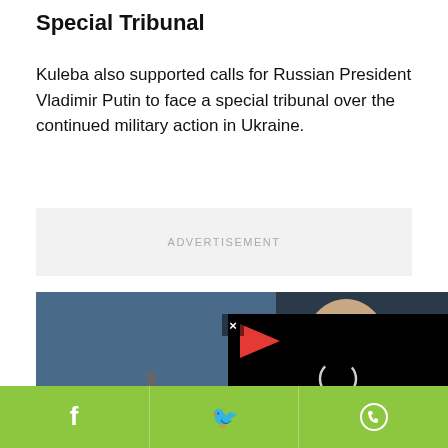Special Tribunal
Kuleba also supported calls for Russian President Vladimir Putin to face a special tribunal over the continued military action in Ukraine.
ADVERTISEMENT
[Figure (photo): Photo of Russian President Vladimir Putin smiling, with microphone stands visible in foreground, blue background panel. A video player overlay appears on the right side of the image with a red play button and loading spinner.]
[Figure (screenshot): Social sharing bar with green background containing Facebook, Twitter, and WhatsApp icons]